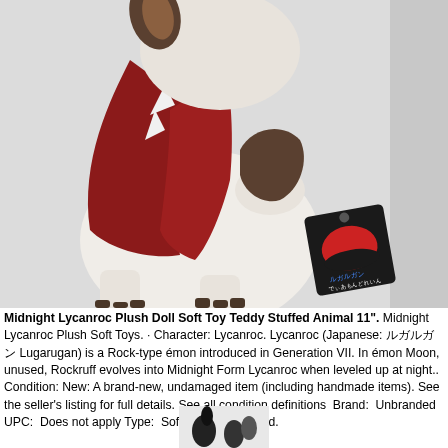[Figure (photo): Midnight Lycanroc plush doll stuffed animal with a tag attached, shown against a white/grey background. The plush has white and dark brown/maroon coloring with red cape-like fur. A round black hang tag with Pokemon imagery is visible.]
Midnight Lycanroc Plush Doll Soft Toy Teddy Stuffed Animal 11". Midnight Lycanroc Plush Soft Toys. · Character: Lycanroc. Lycanroc (Japanese: ルガルガン Lugarugan) is a Rock-type émon introduced in Generation VII. In émon Moon, unused, Rockruff evolves into Midnight Form Lycanroc when leveled up at night.. Condition:￼ New: A brand-new, undamaged item (including handmade items). See the seller's listing for full details. See all condition definitions ￼ Brand: ￼ Unbranded ￼ UPC: ￼ Does not apply￼ Type: ￼ Soft Toys ￼. unopened.
[Figure (photo): Bottom partial image showing small dark-colored plush toy feet or accessories.]